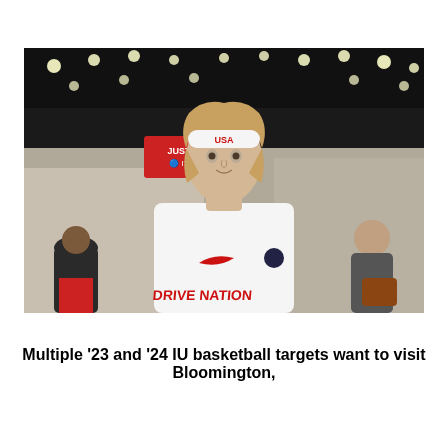[Figure (photo): A young male basketball player wearing a white 'Drive Nation' jersey and a white USA headband, standing in a large indoor sports facility with courts visible in the background. Other spectators and players are visible behind him.]
Multiple '23 and '24 IU basketball targets want to visit Bloomington, per recruiting update